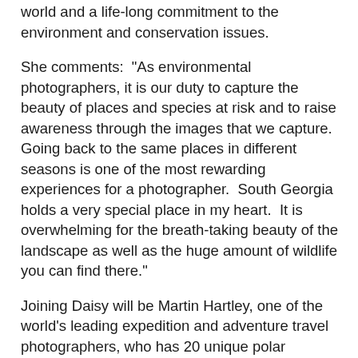world and a life-long commitment to the environment and conservation issues.
She comments:  "As environmental photographers, it is our duty to capture the beauty of places and species at risk and to raise awareness through the images that we capture.  Going back to the same places in different seasons is one of the most rewarding experiences for a photographer.  South Georgia holds a very special place in my heart.  It is overwhelming for the breath-taking beauty of the landscape as well as the huge amount of wildlife you can find there."
Joining Daisy will be Martin Hartley, one of the world's leading expedition and adventure travel photographers, who has 20 unique polar assignments to his name; Ron Clifford, an artist, coach and creative mentor who is well-versed in sharing his photographic skills, teaching field techniques and hosting workshops; Gerhard 'Guts' Swanepoel, who has earned his reputation as one of the most sought-after guides of his generation following 13 years of guiding and a staggering 1.2 million kilometres travelling across Southern Africa; and Canadian artist, David McEown, who has